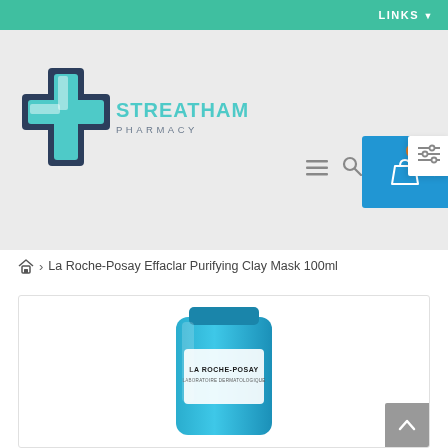LINKS
[Figure (logo): Streatham Pharmacy logo with teal cross icon and text]
La Roche-Posay Effaclar Purifying Clay Mask 100ml
[Figure (photo): La Roche-Posay Effaclar Purifying Clay Mask product in blue tube]